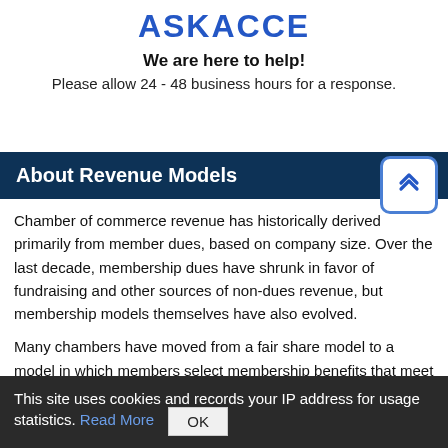ASKACCE
We are here to help!
Please allow 24 - 48 business hours for a response.
About Revenue Models
Chamber of commerce revenue has historically derived primarily from member dues, based on company size. Over the last decade, membership dues have shrunk in favor of fundraising and other sources of non-dues revenue, but membership models themselves have also evolved.
Many chambers have moved from a fair share model to a model in which members select membership benefits that meet their
This site uses cookies and records your IP address for usage statistics. Read More  OK